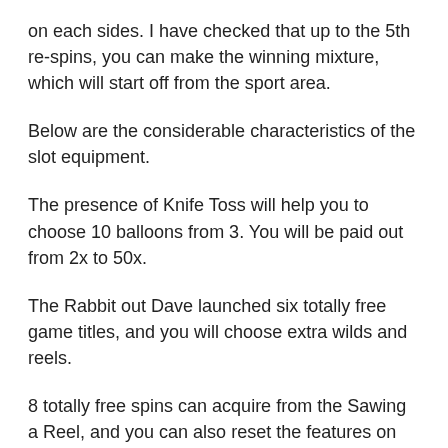on each sides. I have checked that up to the 5th re-spins, you can make the winning mixture, which will start off from the sport area.
Below are the considerable characteristics of the slot equipment.
The presence of Knife Toss will help you to choose 10 balloons from 3. You will be paid out from 2x to 50x.
The Rabbit out Dave launched six totally free game titles, and you will choose extra wilds and reels.
8 totally free spins can acquire from the Sawing a Reel, and you can also reset the features on the reels. The wilds will change on the sets of reels. Because of to these acts, you will choose more free spins.